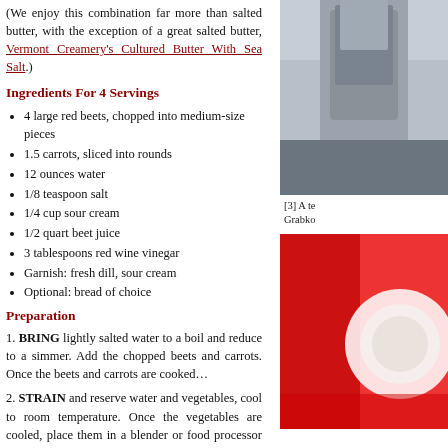(We enjoy this combination far more than salted butter, with the exception of a great salted butter, Vermont Creamery's Cultured Butter With Sea Salt.)
Ingredients For 4 Servings
4 large red beets, chopped into medium-size pieces
1.5 carrots, sliced into rounds
12 ounces water
1/8 teaspoon salt
1/4 cup sour cream
1/2 quart beet juice
3 tablespoons red wine vinegar
Garnish: fresh dill, sour cream
Optional: bread of choice
Preparation
1. BRING lightly salted water to a boil and reduce to a simmer. Add the chopped beets and carrots. Once the beets and carrots are cooked…
2. STRAIN and reserve water and vegetables, cool to room temperature. Once the vegetables are cooled, place them in a blender or food processor and purée.
[Figure (photo): Photo of a person, partially visible, appears to be wearing jeans]
[3] A te Grabko
[Figure (photo): Photo showing red/white colors, likely the beet soup dish]